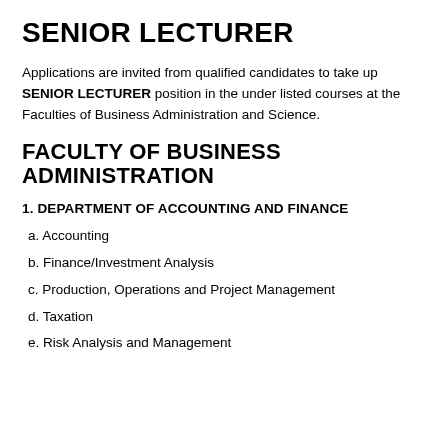SENIOR LECTURER
Applications are invited from qualified candidates to take up SENIOR LECTURER position in the under listed courses at the Faculties of Business Administration and Science.
FACULTY OF BUSINESS ADMINISTRATION
1. DEPARTMENT OF ACCOUNTING AND FINANCE
a. Accounting
b. Finance/Investment Analysis
c. Production, Operations and Project Management
d. Taxation
e. Risk Analysis and Management